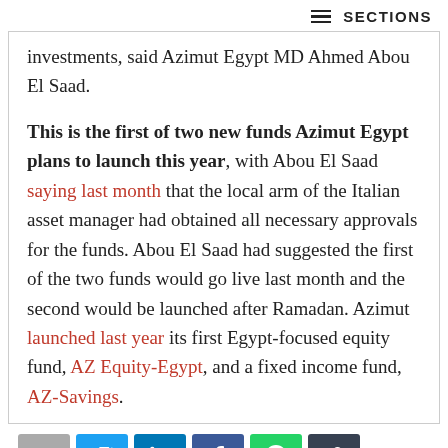≡ SECTIONS
investments, said Azimut Egypt MD Ahmed Abou El Saad.
This is the first of two new funds Azimut Egypt plans to launch this year, with Abou El Saad saying last month that the local arm of the Italian asset manager had obtained all necessary approvals for the funds. Abou El Saad had suggested the first of the two funds would go live last month and the second would be launched after Ramadan. Azimut launched last year its first Egypt-focused equity fund, AZ Equity-Egypt, and a fixed income fund, AZ-Savings.
[Figure (other): Social sharing icons: email, Twitter, LinkedIn, Facebook, WhatsApp, link]